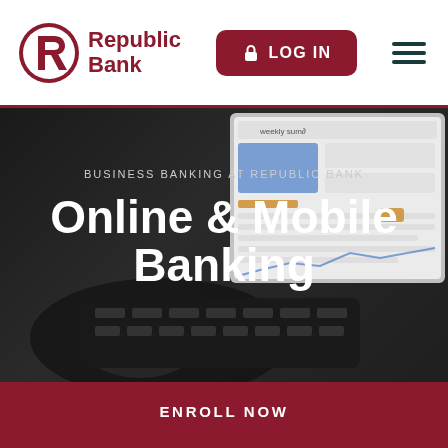[Figure (logo): Republic Bank logo with circular R emblem in dark red and 'Republic Bank' text in dark red]
LOG IN
[Figure (illustration): Hamburger menu icon (three horizontal lines)]
[Figure (photo): Dark background hero image showing a person typing on a laptop keyboard with a banking dashboard visible on the laptop screen]
BUSINESS BANKING AT REPUBLIC BANK
Online & Mobile Banking
ENROLL NOW